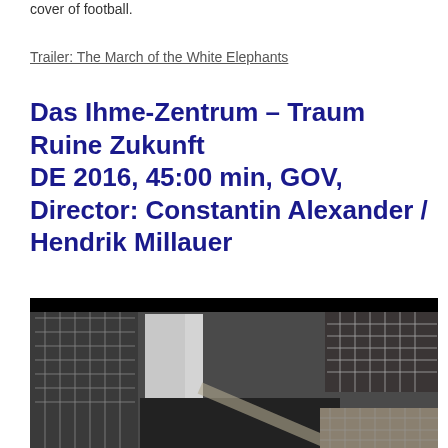cover of football.
Trailer: The March of the White Elephants
Das Ihme-Zentrum – Traum Ruine Zukunft
DE 2016, 45:00 min, GOV, Director: Constantin Alexander / Hendrik Millauer
[Figure (photo): Aerial view of the Ihme-Zentrum building complex showing rooftops, walkways, and surrounding structures from above, with black bar at top.]